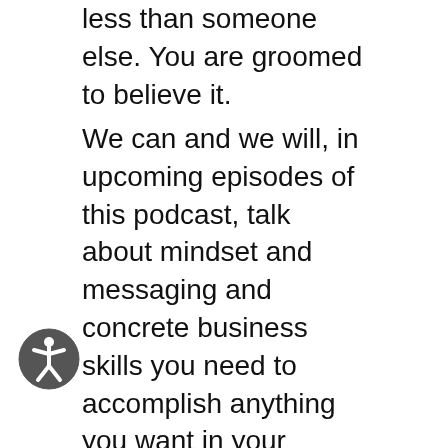less than someone else. You are groomed to believe it.
We can and we will, in upcoming episodes of this podcast, talk about mindset and messaging and concrete business skills you need to accomplish anything you want in your business. But at the core of acquiring these skills is an idea that you’re done with the part of your life where you’re a secondary human being to those who are primary. If you don’t have this skill of thinking of yourself as an equal, and creating a high profit home in which you’re treated as an equal, in which every person in the household is of equal value, and the earnings life of every person in the household is of equal importance, all the business skill in the world is not going to help you because you’re not going to use it. You’re going to feel drained. You’re going to feel